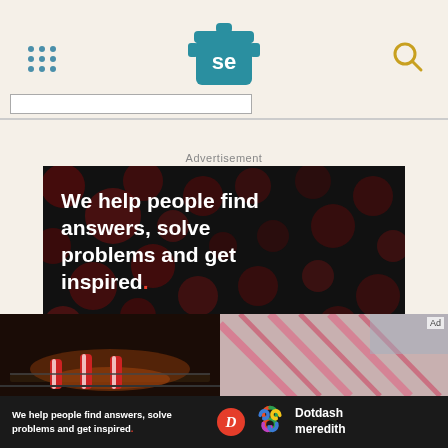[Figure (screenshot): Serious Eats website header with teal pot logo, hamburger menu dots, and search icon on cream background]
Advertisement
[Figure (illustration): Dark advertisement banner with bokeh dot pattern background. White bold text reads 'We help people find answers, solve problems and get inspired.' with red period. 'LEARN MORE' call to action with orange arrow. Dotdash and Meredith brand logos at bottom right.]
[Figure (photo): Two thumbnail images at bottom: left shows food/candy in oven with warm brown tones, right shows pink/red candy canes or holiday items. Small 'Ad' label on right image.]
[Figure (illustration): Bottom dark banner ad repeating 'We help people find answers, solve problems and get inspired.' with Dotdash Meredith logos]